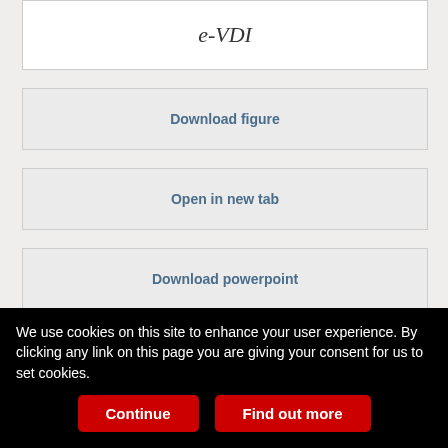[Figure (other): Top portion of a scatter plot or correlation figure with axis label 'e-VDI' visible]
Download figure
Open in new tab
Download powerpoint
Figure 1
Correlation of early Birmingham Vasculitis Activity Score (e-BVAS) and Vasculitis Damage Index (e-VDI) scores.
[Figure (other): Bottom portion of a figure, partially visible]
We use cookies on this site to enhance your user experience. By clicking any link on this page you are giving your consent for us to set cookies.
Continue
Find out more